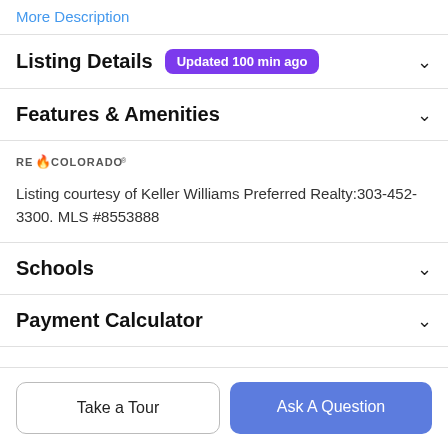More Description
Listing Details   Updated 100 min ago
Features & Amenities
[Figure (logo): RE/Colorado logo with flame icon]
Listing courtesy of Keller Williams Preferred Realty:303-452-3300. MLS #8553888
Schools
Payment Calculator
Take a Tour
Ask A Question